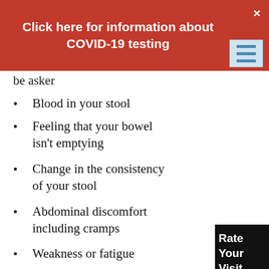[Figure (screenshot): Red COVID-19 banner with white bold text 'Click here for information about COVID-19 testing', a close (×) button top-right, and a menu icon (hamburger) on the right side]
be asket
Blood in your stool
Feeling that your bowel isn't emptying
Change in the consistency of your stool
Abdominal discomfort including cramps
Weakness or fatigue
Unexplained weight loss
[Figure (screenshot): Black sidebar widget with white bold text 'Rate Your Visit Now']
Help us spread the word this month to make all of your friends and family aware of the signs and symptoms of